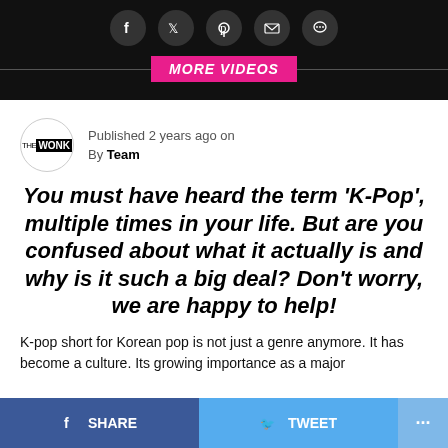[Figure (screenshot): Top black bar with social media sharing icons (Facebook, Twitter, Pinterest, Email, Chat) as dark circles, and a pink 'MORE VIDEOS' banner button on a horizontal line]
Published 2 years ago on
By Team
You must have heard the term ‘K-Pop’, multiple times in your life. But are you confused about what it actually is and why is it such a big deal? Don’t worry, we are happy to help!
K-pop short for Korean pop is not just a genre anymore. It has become a culture. Its growing importance as a major
[Figure (screenshot): Bottom share bar with Facebook SHARE button (blue), Twitter TWEET button (light blue), and a three-dot more button]